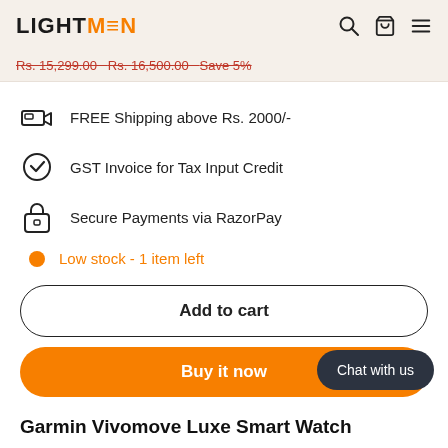LIGHTMEN
Rs. 15,299.00  Rs. 16,500.00  Save 5%
FREE Shipping above Rs. 2000/-
GST Invoice for Tax Input Credit
Secure Payments via RazorPay
Low stock - 1 item left
Add to cart
Buy it now
Chat with us
Garmin Vivomove Luxe Smart Watch